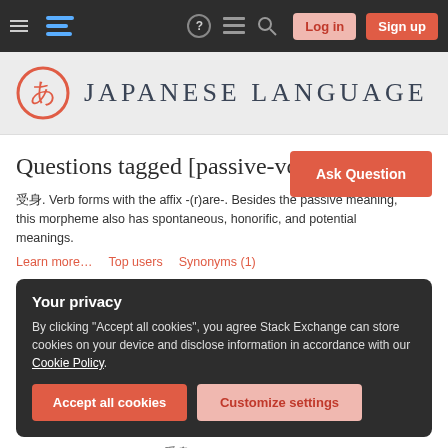Japanese Language Stack Exchange – navigation bar with Log in and Sign up buttons
[Figure (logo): Japanese Language Stack Exchange site logo: red circle with あ character and 'JAPANESE LANGUAGE' text]
Questions tagged [passive-voice]
受身. Verb forms with the affix -(r)are-. Besides the passive meaning, this morpheme also has spontaneous, honorific, and potential meanings.
Learn more…   Top users   Synonyms (1)
Your privacy
By clicking "Accept all cookies", you agree Stack Exchange can store cookies on your device and disclose information in accordance with our Cookie Policy.
Accept all cookies   Customize settings
Confused about object of 受身 in this sentence